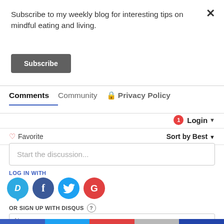Subscribe to my weekly blog for interesting tips on mindful eating and living.
Subscribe
Comments   Community   🔒 Privacy Policy
Login ▾
♡ Favorite    Sort by Best ▾
Start the discussion...
LOG IN WITH
[Figure (infographic): Social login icons: Disqus (D), Facebook (f), Twitter bird, Google (G)]
OR SIGN UP WITH DISQUS ?